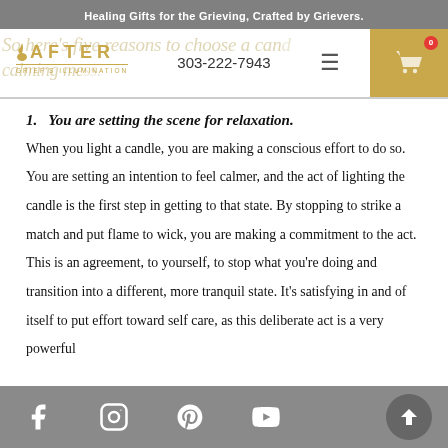Healing Gifts for the Grieving, Crafted by Grievers.
[Figure (logo): AFTER Grief's Illumination logo with candle flame icon and phone number 303-222-7943, hamburger menu, and cart button]
1. You are setting the scene for relaxation.
When you light a candle, you are making a conscious effort to do so. You are setting an intention to feel calmer, and the act of lighting the candle is the first step in getting to that state. By stopping to strike a match and put flame to wick, you are making a commitment to the act. This is an agreement, to yourself, to stop what you're doing and transition into a different, more tranquil state. It's satisfying in and of itself to put effort toward self care, as this deliberate act is a very powerful